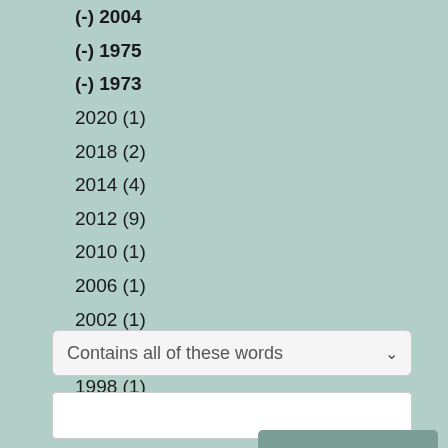(-) 2004
(-) 1975
(-) 1973
2020 (1)
2018 (2)
2014 (4)
2012 (9)
2010 (1)
2006 (1)
2002 (1)
2000 (5)
1998 (1)
1996 (8)
Contains all of these words